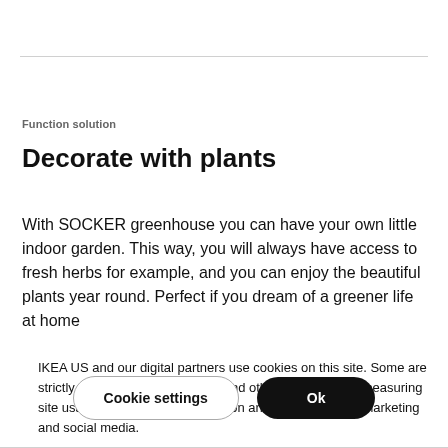Function solution
Decorate with plants
With SOCKER greenhouse you can have your own little indoor garden. This way, you will always have access to fresh herbs for example, and you can enjoy the beautiful plants year round. Perfect if you dream of a greener life at home
IKEA US and our digital partners use cookies on this site. Some are strictly necessary to run the site and others are used for measuring site usage, enabling personalisation and for advertising, marketing and social media.
Cookie settings
Ok